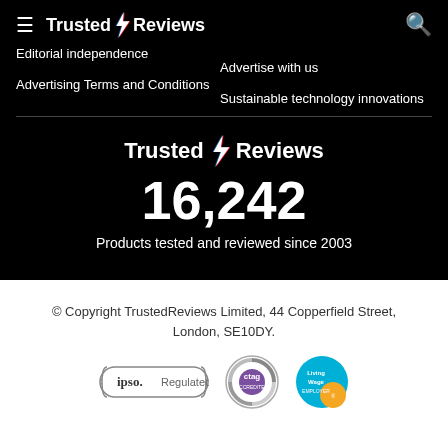Trusted Reviews
Editorial independence
Advertising Terms and Conditions
Advertise with us
Sustainable technology innovations
[Figure (logo): Trusted Reviews logo with lightning bolt]
16,242
Products tested and reviewed since 2003
© Copyright TrustedReviews Limited, 44 Copperfield Street, London, SE10DY.
[Figure (logo): IPSO Regulated badge, CTAG badge, Living Wage Employer badge]